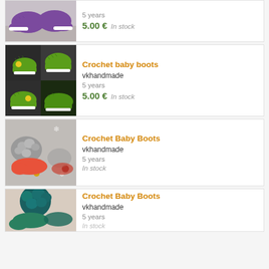[Figure (photo): Purple crochet baby booties/slippers with white sole, partially visible at top]
5 years
5.00 € In stock
[Figure (photo): Green crochet baby boots with yellow buttons, shown in multiple angles in a grid]
Crochet baby boots
vkhandmade
5 years
5.00 € In stock
[Figure (photo): Coral/red crochet baby boots with fluffy gray/silver top decoration, Christmas theme]
Crochet Baby Boots
vkhandmade
5 years
In stock
[Figure (photo): Teal/dark green crochet baby boots with large fluffy pom-pom ball on top]
Crochet Baby Boots
vkhandmade
5 years
In stock